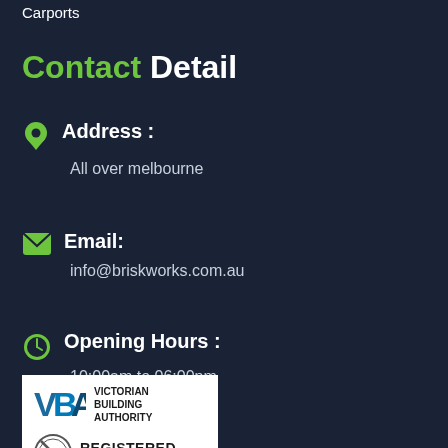Carports
Contact Detail
Address : All over melbourne
Email: info@briskworks.com.au
Opening Hours : 10:00am to 06:00pm
[Figure (logo): Victorian Building Authority logo with VBA lettering and Registered Building Practitioner badge]